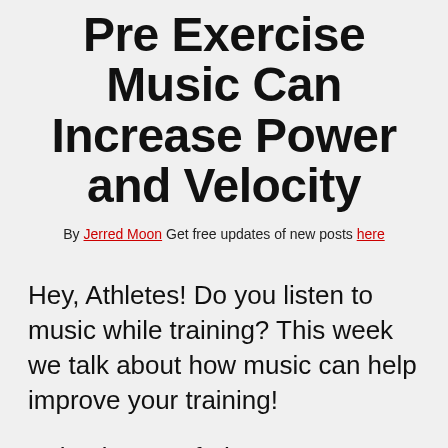Pre Exercise Music Can Increase Power and Velocity
By Jerred Moon Get free updates of new posts here
Hey, Athletes! Do you listen to music while training? This week we talk about how music can help improve your training!
Episode 103 of The Garage Gym Athlete